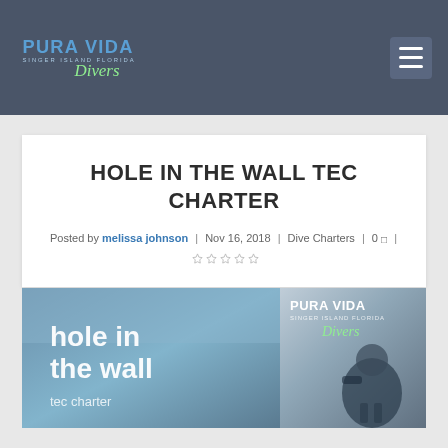Pura Vida Divers - Singer Island Florida
HOLE IN THE WALL TEC CHARTER
Posted by melissa johnson | Nov 16, 2018 | Dive Charters | 0 |
[Figure (photo): Promotional image for Hole in the Wall tec charter with Pura Vida Divers logo and diver photo]